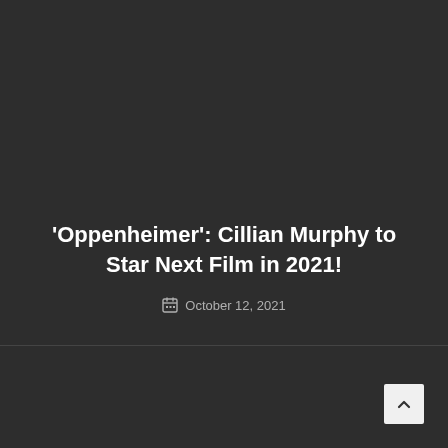'Oppenheimer': Cillian Murphy to Star Next Film in 2021!
October 12, 2021